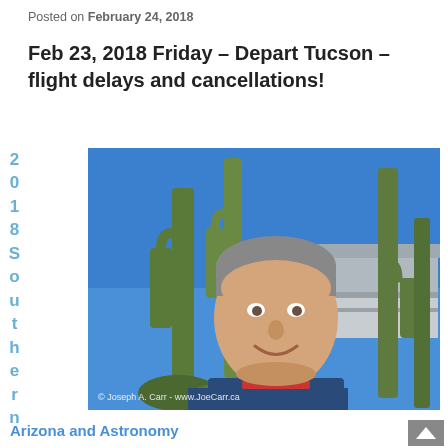Posted on February 24, 2018
Feb 23, 2018 Friday – Depart Tucson – flight delays and cancellations!
[Figure (photo): Man taking a selfie in front of tall saguaro cacti and a building under a bright blue sky. Watermark: © Joseph A. Carr - www.JoeCarr.ca]
2018 Southern Arizona and Astronomy
Arizona and Astronomy